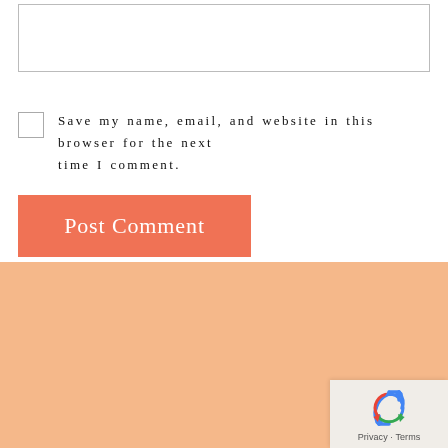[textarea input box]
Save my name, email, and website in this browser for the next time I comment.
Post Comment
[Figure (logo): Limitless Women logo with female silhouette figure on peach/salmon background, white text reading LIMITLESS WOMEN]
[Figure (other): reCAPTCHA widget with recycling arrows icon and Privacy - Terms text]